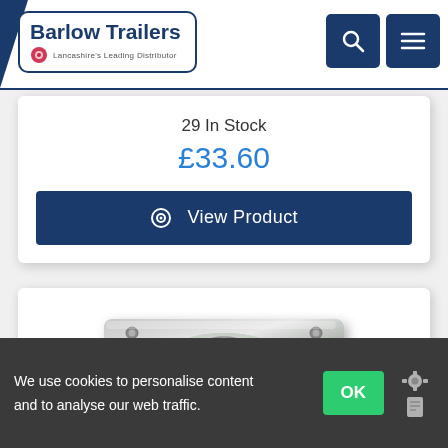[Figure (logo): Barlow Trailers logo with Lancashire's Leading Distributor tagline, search and menu icons in header]
29 In Stock
£33.60
View Product
[Figure (photo): Metal trailer part - a flat bracket/plate with a central oval hole and mounting holes at corners, galvanised finish]
We use cookies to personalise content and to analyse our web traffic.
OK